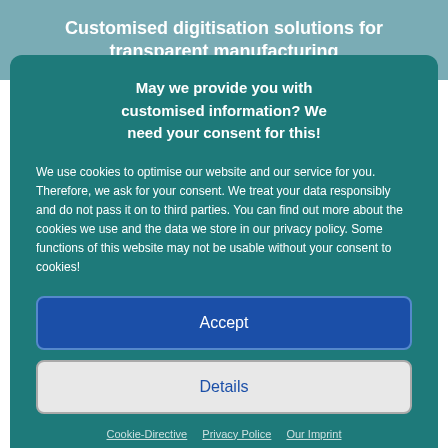Customised digitisation solutions for transparent manufacturing
May we provide you with customised information? We need your consent for this!
We use cookies to optimise our website and our service for you. Therefore, we ask for your consent. We treat your data responsibly and do not pass it on to third parties. You can find out more about the cookies we use and the data we store in our privacy policy. Some functions of this website may not be usable without your consent to cookies!
Accept
Details
Cookie-Directive  Privacy Police  Our Imprint
the automation of production processes is already